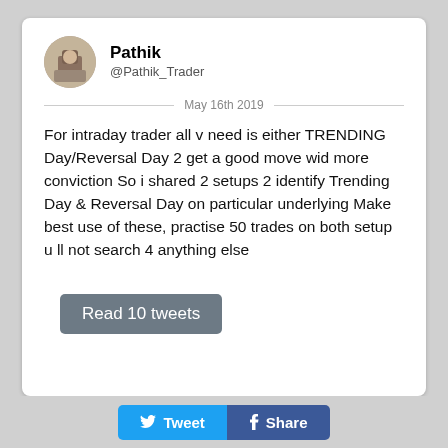[Figure (photo): Profile avatar photo of Pathik, circular crop]
Pathik
@Pathik_Trader
May 16th 2019
For intraday trader all v need is either TRENDING Day/Reversal Day 2 get a good move wid more conviction So i shared 2 setups 2 identify Trending Day & Reversal Day on particular underlying Make best use of these, practise 50 trades on both setup u ll not search 4 anything else
Read 10 tweets
Tweet   Share